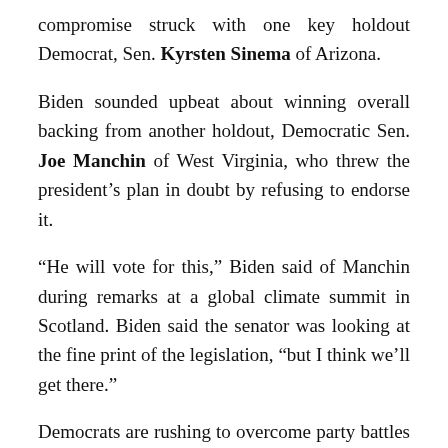compromise struck with one key holdout Democrat, Sen. Kyrsten Sinema of Arizona.
Biden sounded upbeat about winning overall backing from another holdout, Democratic Sen. Joe Manchin of West Virginia, who threw the president's plan in doubt by refusing to endorse it.
“He will vote for this,” Biden said of Manchin during remarks at a global climate summit in Scotland. Biden said the senator was looking at the fine print of the legislation, “but I think we’ll get there.”
Democrats are rushing to overcome party battles and finish a final draft of Biden’s plan. House Speaker Nancy Pelosi had hoped to